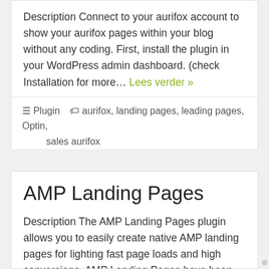Description Connect to your aurifox account to show your aurifox pages within your blog without any coding. First, install the plugin in your WordPress admin dashboard. (check Installation for more… Lees verder »
Plugin  aurifox, landing pages, leading pages, Optin, sales aurifox
AMP Landing Pages
Description The AMP Landing Pages plugin allows you to easily create native AMP landing pages for lighting fast page loads and high conversions. AMP Landing Pages have been are favored… Lees verder »